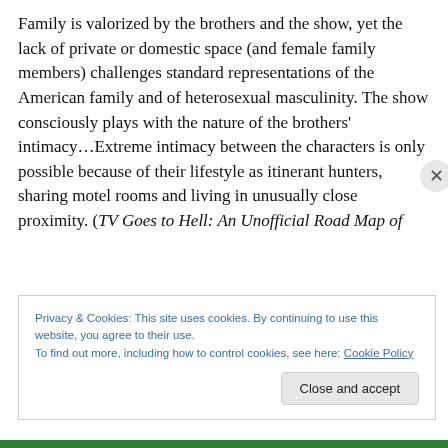Family is valorized by the brothers and the show, yet the lack of private or domestic space (and female family members) challenges standard representations of the American family and of heterosexual masculinity. The show consciously plays with the nature of the brothers' intimacy…Extreme intimacy between the characters is only possible because of their lifestyle as itinerant hunters, sharing motel rooms and living in unusually close proximity. (TV Goes to Hell: An Unofficial Road Map of
Privacy & Cookies: This site uses cookies. By continuing to use this website, you agree to their use.
To find out more, including how to control cookies, see here: Cookie Policy